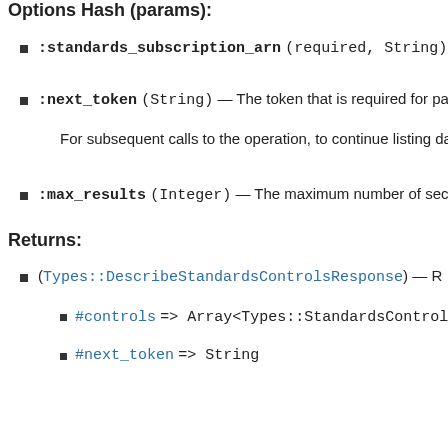Options Hash (params):
:standards_subscription_arn (required, String) —
:next_token (String) — The token that is required for pa
For subsequent calls to the operation, to continue listing data
:max_results (Integer) — The maximum number of sec
Returns:
(Types::DescribeStandardsControlsResponse) — R
#controls => Array<Types::StandardsControl>
#next_token => String
See Also:
AWS API Documentation
[View source]
#disable_import_findings_for_product(params = {})